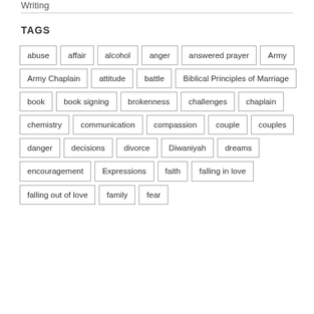Writing
TAGS
abuse
affair
alcohol
anger
answered prayer
Army
Army Chaplain
attitude
battle
Biblical Principles of Marriage
book
book signing
brokenness
challenges
chaplain
chemistry
communication
compassion
couple
couples
danger
decisions
divorce
Diwaniyah
dreams
encouragement
Expressions
faith
falling in love
falling out of love
family
fear